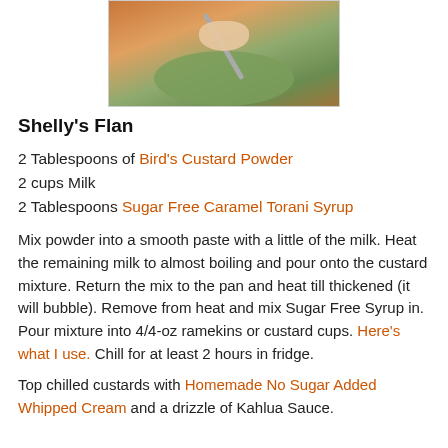[Figure (photo): Photo of a flan dessert on a green plate with a spoon, on a colorful tablecloth]
Shelly's Flan
2 Tablespoons of Bird's Custard Powder
2 cups Milk
2 Tablespoons Sugar Free Caramel Torani Syrup
Mix powder into a smooth paste with a little of the milk. Heat the remaining milk to almost boiling and pour onto the custard mixture. Return the mix to the pan and heat till thickened (it will bubble). Remove from heat and mix Sugar Free Syrup in. Pour mixture into 4/4-oz ramekins or custard cups. Here's what I use. Chill for at least 2 hours in fridge.
Top chilled custards with Homemade No Sugar Added Whipped Cream and a drizzle of Kahlua Sauce.